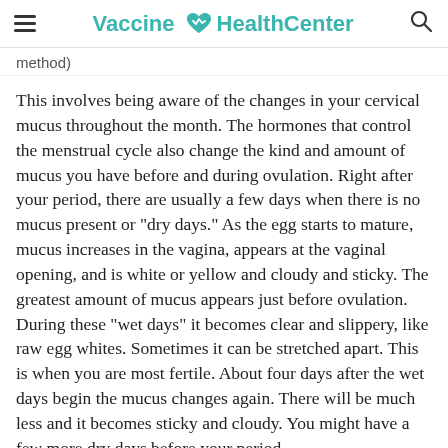Vaccine HealthCenter
method)
This involves being aware of the changes in your cervical mucus throughout the month. The hormones that control the menstrual cycle also change the kind and amount of mucus you have before and during ovulation. Right after your period, there are usually a few days when there is no mucus present or "dry days." As the egg starts to mature, mucus increases in the vagina, appears at the vaginal opening, and is white or yellow and cloudy and sticky. The greatest amount of mucus appears just before ovulation. During these "wet days" it becomes clear and slippery, like raw egg whites. Sometimes it can be stretched apart. This is when you are most fertile. About four days after the wet days begin the mucus changes again. There will be much less and it becomes sticky and cloudy. You might have a few more dry days before your period.